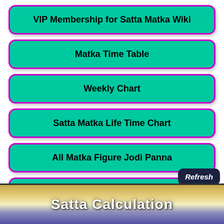VIP Membership for Satta Matka Wiki
Matka Time Table
Weekly Chart
Satta Matka Life Time Chart
All Matka Figure Jodi Panna
Fix Matka
Refresh
Satta Calculation